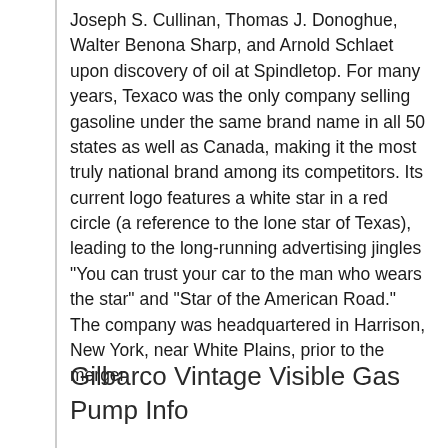Joseph S. Cullinan, Thomas J. Donoghue, Walter Benona Sharp, and Arnold Schlaet upon discovery of oil at Spindletop. For many years, Texaco was the only company selling gasoline under the same brand name in all 50 states as well as Canada, making it the most truly national brand among its competitors. Its current logo features a white star in a red circle (a reference to the lone star of Texas), leading to the long-running advertising jingles "You can trust your car to the man who wears the star" and "Star of the American Road." The company was headquartered in Harrison, New York, near White Plains, prior to the merger.
Gilbarco Vintage Visible Gas Pump Info